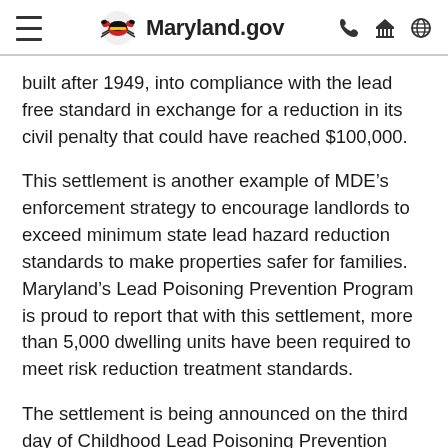Maryland.gov
built after 1949, into compliance with the lead free standard in exchange for a reduction in its civil penalty that could have reached $100,000.
This settlement is another example of MDE’s enforcement strategy to encourage landlords to exceed minimum state lead hazard reduction standards to make properties safer for families. Maryland’s Lead Poisoning Prevention Program is proud to report that with this settlement, more than 5,000 dwelling units have been required to meet risk reduction treatment standards.
The settlement is being announced on the third day of Childhood Lead Poisoning Prevention Week in Maryland, which runs though June 9. Childhood Lead Poisoning Prevention Week is comprised of